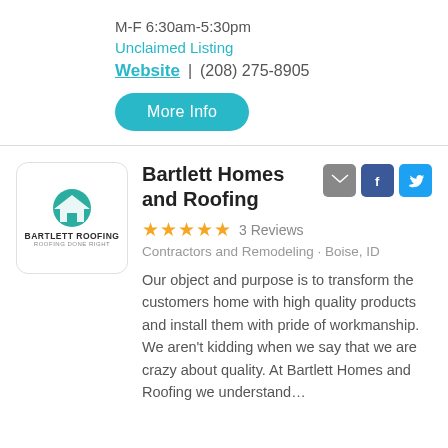M-F 6:30am-5:30pm
Unclaimed Listing
Website | (208) 275-8905
More Info
Bartlett Homes and Roofing
3 Reviews
Contractors and Remodeling · Boise, ID
Our object and purpose is to transform the customers home with high quality products and install them with pride of workmanship. We aren't kidding when we say that we are crazy about quality. At Bartlett Homes and Roofing we understand…